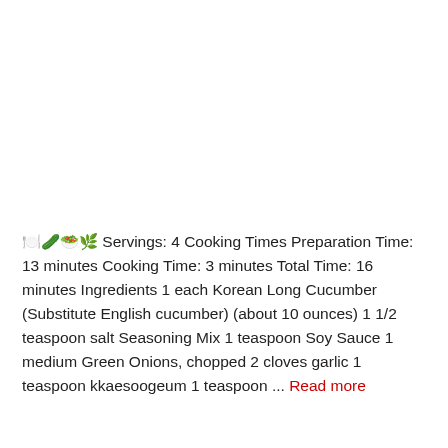🍽️🥒🥗🌿 Servings: 4 Cooking Times Preparation Time: 13 minutes Cooking Time: 3 minutes Total Time: 16 minutes Ingredients 1 each Korean Long Cucumber (Substitute English cucumber) (about 10 ounces) 1 1/2 teaspoon salt Seasoning Mix 1 teaspoon Soy Sauce 1 medium Green Onions, chopped 2 cloves garlic 1 teaspoon kkaesoogeum 1 teaspoon ... Read more